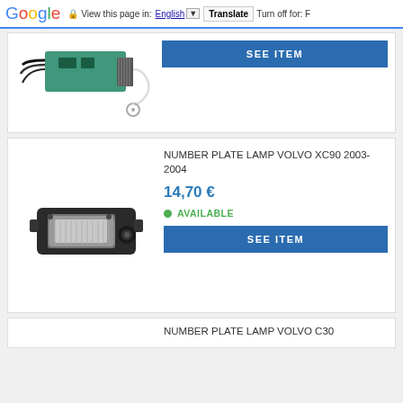Google — View this page in: English | Translate | Turn off for: F
[Figure (photo): Electronic wire harness/connector with green PCB board and wires, with a circular ring terminal]
[Figure (other): SEE ITEM blue button (partial, top card)]
NUMBER PLATE LAMP VOLVO XC90 2003-2004
14,70 €
AVAILABLE
[Figure (photo): Number plate lamp for Volvo XC90, dark plastic housing with lens]
SEE ITEM
NUMBER PLATE LAMP VOLVO C30